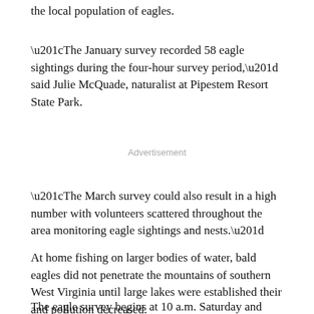the local population of eagles.
“The January survey recorded 58 eagle sightings during the four-hour survey period,” said Julie McQuade, naturalist at Pipestem Resort State Park.
Advertisement
“The March survey could also result in a high number with volunteers scattered throughout the area monitoring eagle sightings and nests.”
At home fishing on larger bodies of water, bald eagles did not penetrate the mountains of southern West Virginia until large lakes were established their and pollution decreased.
The eagle survey begins at 10 a.m. Saturday and runs until 2